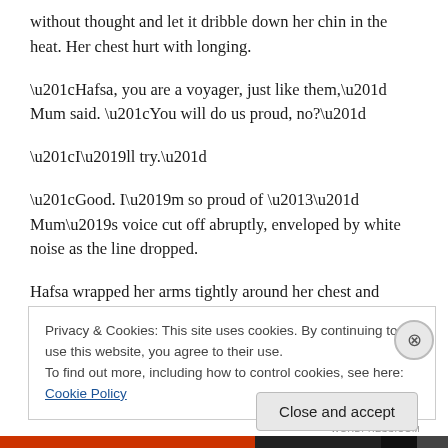without thought and let it dribble down her chin in the heat. Her chest hurt with longing.
“Hafsa, you are a voyager, just like them,” Mum said. “You will do us proud, no?”
“I’ll try.”
“Good. I’m so proud of –” Mum’s voice cut off abruptly, enveloped by white noise as the line dropped.
Hafsa wrapped her arms tightly around her chest and
Privacy & Cookies: This site uses cookies. By continuing to use this website, you agree to their use.
To find out more, including how to control cookies, see here: Cookie Policy
Close and accept